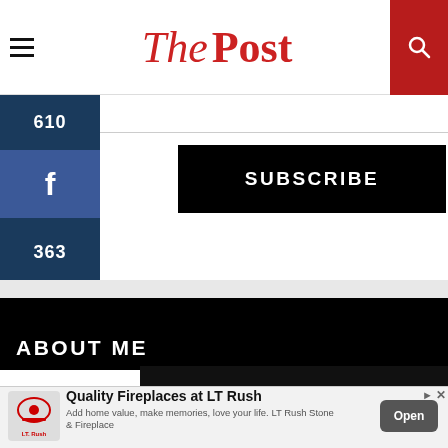The Post
610
f
363
SUBSCRIBE
ABOUT ME
Quality Fireplaces at LT Rush
Add home value, make memories, love your life. LT Rush Stone & Fireplace
Open